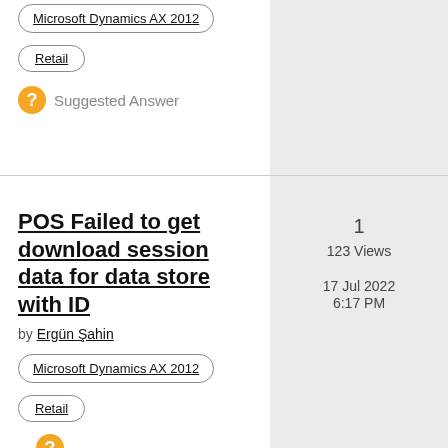Microsoft Dynamics AX 2012
Retail
Suggested Answer
POS Failed to get download session data for data store with ID
by Ergün Şahin
1
123 Views
17 Jul 2022
6:17 PM
Microsoft Dynamics AX 2012
Retail